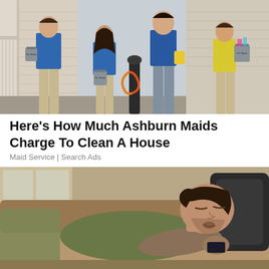[Figure (photo): Three cleaning service workers in blue uniforms holding grey cleaning supply buckets labeled 'The Maids', standing in front of a house exterior]
Here's How Much Ashburn Maids Charge To Clean A House
Maid Service | Search Ads
[Figure (photo): An overweight man with stubble sleeping on a tan/brown couch holding a TV remote, wearing a green t-shirt]